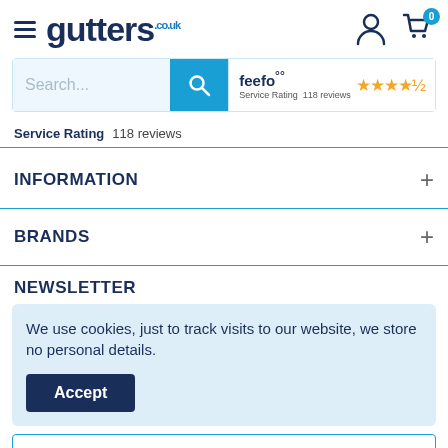gutters.co.uk navigation header with hamburger menu, logo, user icon, and cart icon with 0 items
[Figure (screenshot): Search bar with placeholder text 'Search...' and blue search button, plus Feefo service rating widget showing 4.5 stars and 118 reviews]
Service Rating  118 reviews
INFORMATION
BRANDS
NEWSLETTER
We use cookies, just to track visits to our website, we store no personal details.
Accept